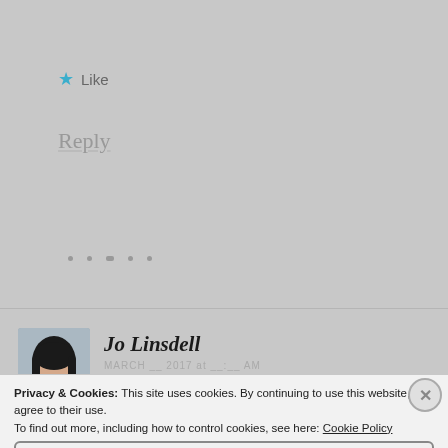★ Like
Reply
[Figure (photo): Profile photo of Jo Linsdell — woman with dark hair against a light blue background]
Jo Linsdell
Privacy & Cookies: This site uses cookies. By continuing to use this website, you agree to their use. To find out more, including how to control cookies, see here: Cookie Policy
Close and accept